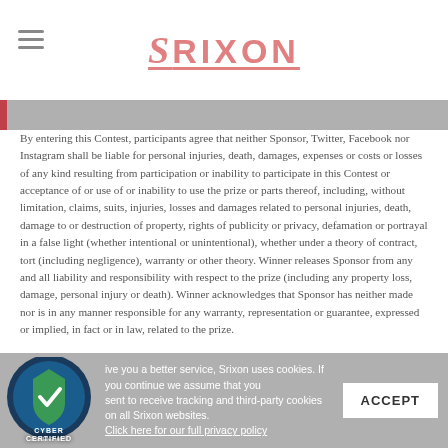SRIXON
By entering this Contest, participants agree that neither Sponsor, Twitter, Facebook nor Instagram shall be liable for personal injuries, death, damages, expenses or costs or losses of any kind resulting from participation or inability to participate in this Contest or acceptance of or use of or inability to use the prize or parts thereof, including, without limitation, claims, suits, injuries, losses and damages related to personal injuries, death, damage to or destruction of property, rights of publicity or privacy, defamation or portrayal in a false light (whether intentional or unintentional), whether under a theory of contract, tort (including negligence), warranty or other theory. Winner releases Sponsor from any and all liability and responsibility with respect to the prize (including any property loss, damage, personal injury or death). Winner acknowledges that Sponsor has neither made nor is in any manner responsible for any warranty, representation or guarantee, expressed or implied, in fact or in law, related to the prize.
If for any reason, this Contest may not be conducted as planned by reason of any entry that, in Sponsor's sole opinion, corrupts or affects the administration, security, fairness, integrity, or proper conduct of this Contest, false and/or deceptive entries or acts, including the use of automated launching, voting or
ive you a better service, Srixon uses cookies. If you continue we assume that you sent to receive tracking and third-party cookies on all Srixon websites. Click here for our full privacy policy  ACCEPT